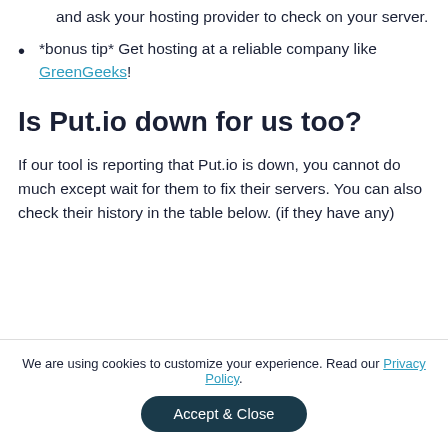and ask your hosting provider to check on your server.
*bonus tip* Get hosting at a reliable company like GreenGeeks!
Is Put.io down for us too?
If our tool is reporting that Put.io is down, you cannot do much except wait for them to fix their servers. You can also check their history in the table below. (if they have any)
We are using cookies to customize your experience. Read our Privacy Policy.